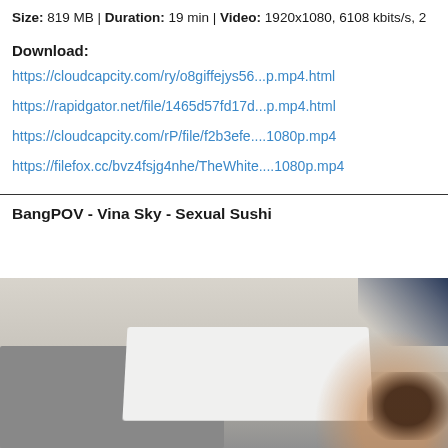Size: 819 MB | Duration: 19 min | Video: 1920x1080, 6108 kbits/s, 2...
Download:
https://cloudcapcity.com/ry/o8giffejys56...p.mp4.html
https://rapidgator.net/file/1465d57fd17d...p.mp4.html
https://cloudcapcity.com/rP/file/f2b3efe....1080p.mp4
https://filefox.cc/bvz4fsjg4nhe/TheWhite....1080p.mp4
BangPOV - Vina Sky - Sexual Sushi
[Figure (photo): Partial photo showing a room interior with a gray tiled floor, a fluffy gray rug, a white surface (table or mat), a dark object in the upper right corner, and a partial view of a person with dark hair in the lower right.]